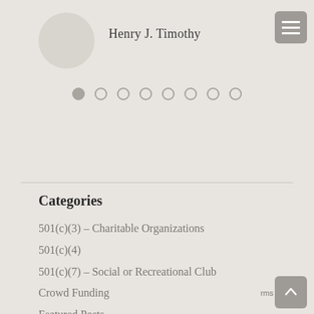Henry J. Timothy
Categories
501(c)(3) – Charitable Organizations
501(c)(4)
501(c)(7) – Social or Recreational Club
Crowd Funding
Featured Posts
Free Legal Advice
How to Start a Non-Profit Organization
Non-Profit Client Profiles
Non-Profit Resources